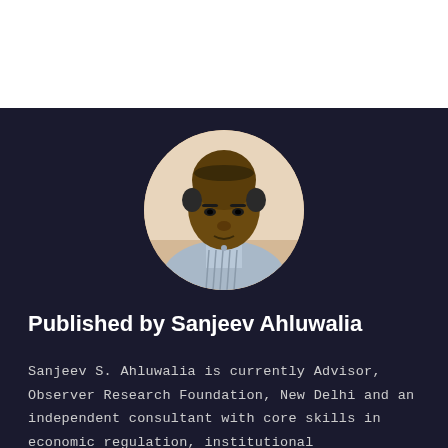[Figure (photo): Circular portrait photo of Sanjeev Ahluwalia, a middle-aged Indian man wearing a light blue striped shirt, photographed against a beige/cream background.]
Published by Sanjeev Ahluwalia
Sanjeev S. Ahluwalia is currently Advisor, Observer Research Foundation, New Delhi and an independent consultant with core skills in economic regulation, institutional development, decentralization, public sector performance management and governance. He is also an Honorary Member of the CIRC Management Committee. He was a